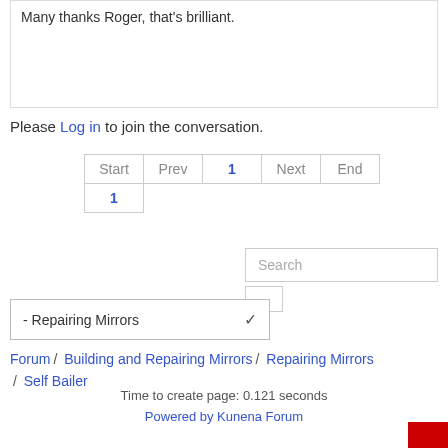Many thanks Roger, that's brilliant.
Please Log in to join the conversation.
| Start | Prev | 1 | Next | End |
| --- | --- | --- | --- | --- |
| 1 |
Search
- Repairing Mirrors
Forum / Building and Repairing Mirrors / Repairing Mirrors / Self Bailer
Time to create page: 0.121 seconds
Powered by Kunena Forum